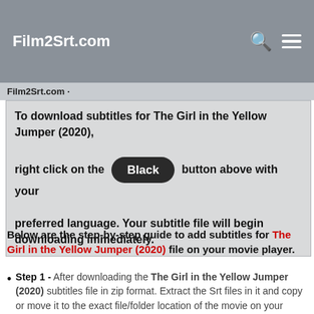Film2Srt.com
Film2Srt.com ·
To download subtitles for The Girl in the Yellow Jumper (2020), right click on the Black button above with your preferred language. Your subtitle file will begin downloading immediately.
Below are the step-by-step guide to add subtitles for The Girl in the Yellow Jumper (2020) file on your movie player.
Step 1 - After downloading the The Girl in the Yellow Jumper (2020) subtitles file in zip format. Extract the Srt files in it and copy or move it to the exact file/folder location of the movie on your mobile phone or personal computer.